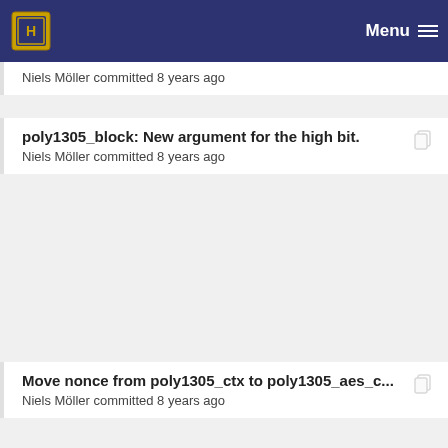Menu
Niels Möller committed 8 years ago
poly1305_block: New argument for the high bit.
Niels Möller committed 8 years ago
Move nonce from poly1305_ctx to poly1305_aes_c...
Niels Möller committed 8 years ago